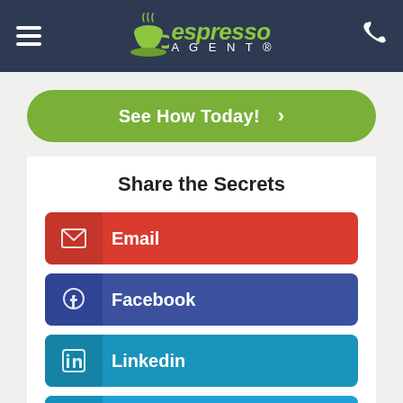[Figure (logo): Espresso Agent logo with coffee cup graphic and hamburger menu icon on left, phone icon on right, all on dark navy background]
[Figure (other): Green rounded rectangle CTA button saying 'See How Today! >']
Share the Secrets
[Figure (other): Red social sharing button with envelope icon and label 'Email']
[Figure (other): Dark blue social sharing button with Facebook icon and label 'Facebook']
[Figure (other): Blue social sharing button with LinkedIn icon and label 'Linkedin']
[Figure (other): Light blue social sharing button with Twitter icon and label 'Twitter']